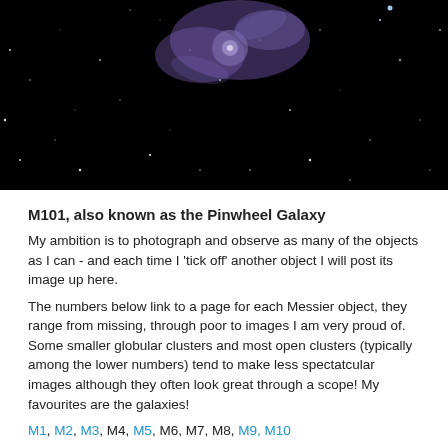[Figure (photo): Astronomical photograph of M101, the Pinwheel Galaxy, showing spiral arms with purple/blue nebulosity against a black starfield]
M101, also known as the Pinwheel Galaxy
My ambition is to photograph and observe as many of the objects as I can - and each time I 'tick off' another object I will post its image up here.
The numbers below link to a page for each Messier object, they range from missing, through poor to images I am very proud of. Some smaller globular clusters and most open clusters (typically among the lower numbers) tend to make less spectatcular images although they often look great through a scope! My favourites are the galaxies!
M1, M2, M3, M4, M5, M6, M7, M8, M9, M10
M11, M12, M13, M14, M15, M16, M17, M18, M19, M20
M21, M22, M23, M24, M25, M26, M27, M28, M29, M30
M31, M32, M33, M34, M35, M36, M37, M38, M39, M40